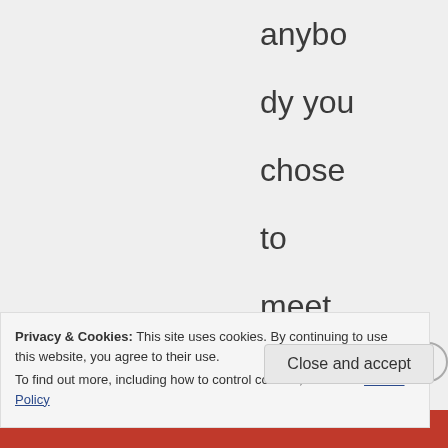anybody you chose to meet but total strangers who
Privacy & Cookies: This site uses cookies. By continuing to use this website, you agree to their use.
To find out more, including how to control cookies, see here: Cookie Policy
Close and accept